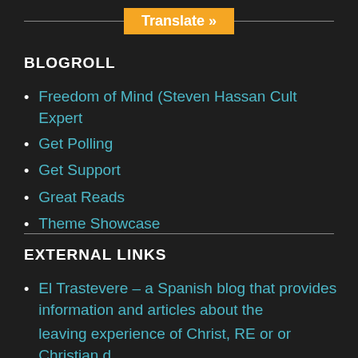Translate »
BLOGROLL
Freedom of Mind (Steven Hassan Cult Expert
Get Polling
Get Support
Great Reads
Theme Showcase
EXTERNAL LINKS
El Trastevere – a Spanish blog that provides information and articles about the
leaving experience of Christ, RE or or Christian d...